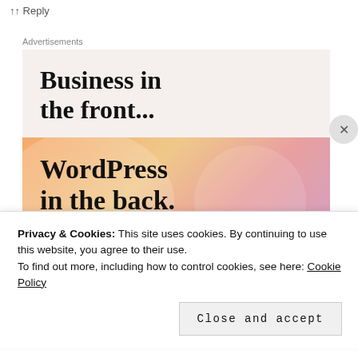↑↑ Reply
Advertisements
[Figure (infographic): WordPress advertisement banner. Top section on light beige background reads 'Business in the front...' in large serif bold font. Bottom section on peach/salmon gradient background reads 'WordPress in the back.' in large serif bold font with decorative circular shapes.]
Privacy & Cookies: This site uses cookies. By continuing to use this website, you agree to their use.
To find out more, including how to control cookies, see here: Cookie Policy
Close and accept